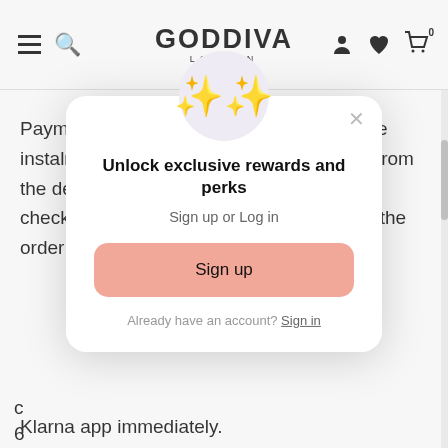GODDIVA LONDON
Payment for your Pay later in 3 interest-free instalments will automatically be collected from the debit or credit card you entered at checkout. The first payment is taken when the order is confirmed...
Klarna app immediately.
[Figure (screenshot): Modal popup with sparkle emoji, title 'Unlock exclusive rewards and perks', subtitle 'Sign up or Log in', a pink 'Sign up' button, and 'Already have an account? Sign in' link. A close X button is in the top right.]